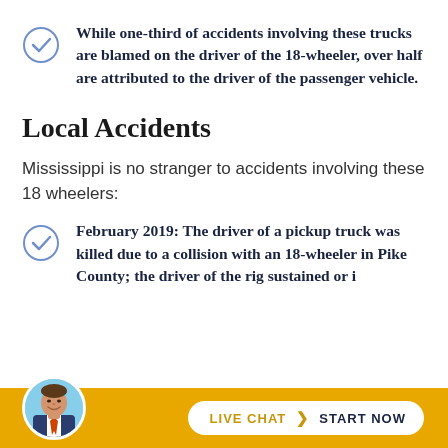While one-third of accidents involving these trucks are blamed on the driver of the 18-wheeler, over half are attributed to the driver of the passenger vehicle.
Local Accidents
Mississippi is no stranger to accidents involving these 18 wheelers:
February 2019: The driver of a pickup truck was killed due to a collision with an 18-wheeler in Pike County; the driver of the rig sustained or i...
[Figure (photo): Circular avatar photo of a man in a suit smiling, overlaid on the bottom bar]
LIVE CHAT > START NOW